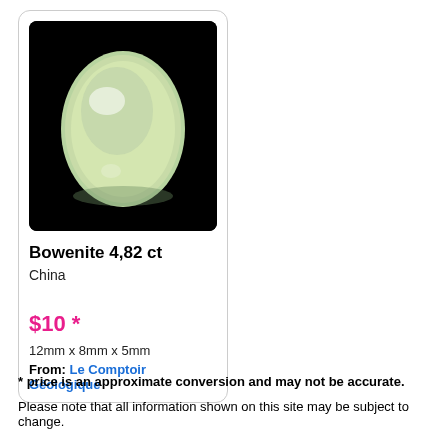[Figure (photo): A pale green/yellow oval cabochon gemstone (Bowenite) photographed against a black background.]
Bowenite 4,82 ct
China
$10 *
12mm x 8mm x 5mm
From: Le Comptoir Géologique
* price is an approximate conversion and may not be accurate.
Please note that all information shown on this site may be subject to change.